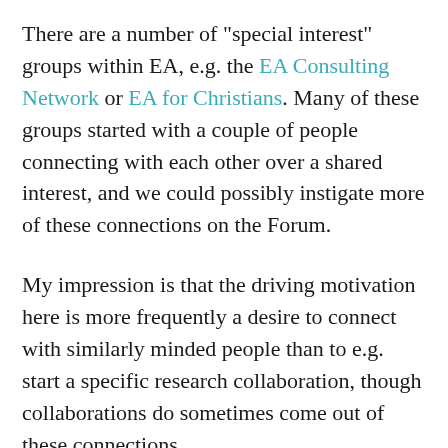There are a number of "special interest" groups within EA, e.g. the EA Consulting Network or EA for Christians. Many of these groups started with a couple of people connecting with each other over a shared interest, and we could possibly instigate more of these connections on the Forum.
My impression is that the driving motivation here is more frequently a desire to connect with similarly minded people than to e.g. start a specific research collaboration, though collaborations do sometimes come out of these connections.
One approach to addressing this use case is to make Forum bios more robust, e.g. by letting people indicate specific, searchable areas of interest. These could potentially just be the tags we already have on the